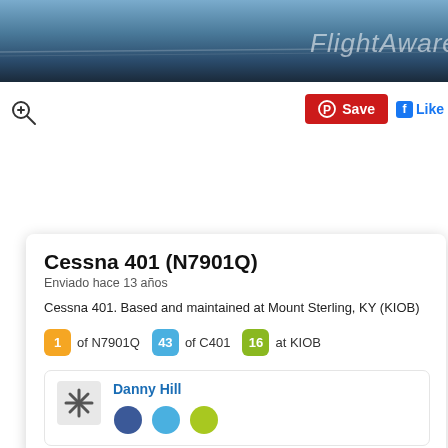[Figure (screenshot): FlightAware header banner with dark blue sky background and watermark logo text]
[Figure (other): Zoom/magnify icon (magnifying glass with plus)]
[Figure (other): Pinterest Save button (red) and Facebook Like button]
Cessna 401 (N7901Q)
Enviado hace 13 años
Cessna 401. Based and maintained at Mount Sterling, KY (KIOB)
1 of N7901Q   43 of C401   16 at KIOB
Danny Hill